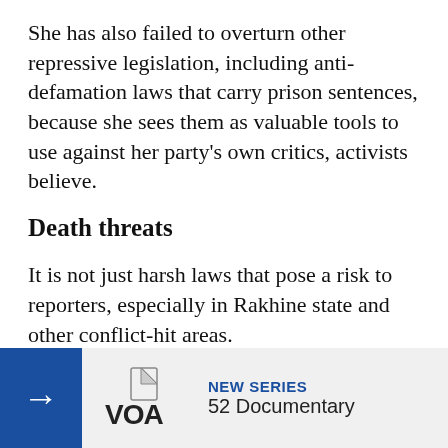She has also failed to overturn other repressive legislation, including anti-defamation laws that carry prison sentences, because she sees them as valuable tools to use against her party's own critics, activists believe.
Death threats
It is not just harsh laws that pose a risk to reporters, especially in Rakhine state and other conflict-hit areas.
In 2017 a journalist who had covered Rakhine for a formerly exiled media outlet survived being stabbed by unidentified attackers in Sittwe. And in 2016 a small bomb exploded outside the office of Root Investigative A[gency] in Sittwe, though[...]
[Figure (other): A promotional banner overlay at the bottom of the page. Contains a blue arrow button on the left, the VOA logo in the center, and text reading 'NEW SERIES' and '52 Documentary' on the right.]